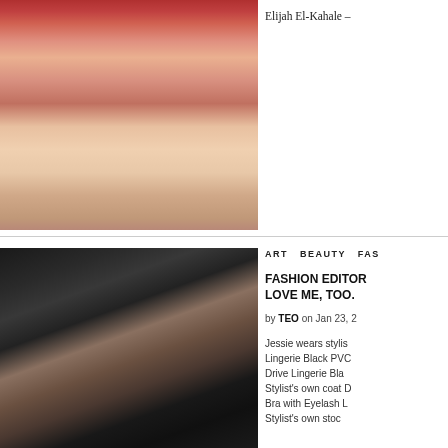[Figure (photo): Close-up photo of a person's lower face and neck with red/pink lips and skin tones]
Elijah El-Kahale –
[Figure (photo): Woman wearing black lace lingerie bra, photographed from above, with dark hair]
ART  BEAUTY  FAS
FASHION EDITOR LOVE ME, TOO.
by TEO on Jan 23, 2
Jessie wears stylis Lingerie Black PVC Drive Lingerie Bla Stylist's own coat D Bra with Eyelash L Stylist's own stoc